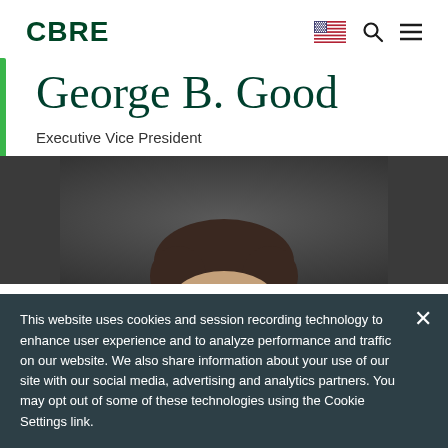CBRE
George B. Good
Executive Vice President
[Figure (photo): Professional headshot of George B. Good on dark background, showing top of head and forehead]
This website uses cookies and session recording technology to enhance user experience and to analyze performance and traffic on our website. We also share information about your use of our site with our social media, advertising and analytics partners. You may opt out of some of these technologies using the Cookie Settings link.